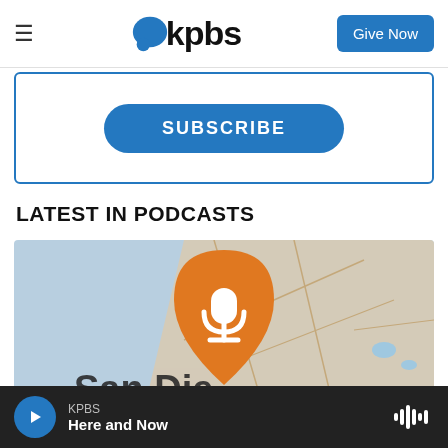kpbs | Give Now
[Figure (screenshot): SUBSCRIBE button inside a blue-bordered box]
LATEST IN PODCASTS
[Figure (illustration): Podcast artwork showing a map of San Diego with an orange location pin containing a white microphone icon, and partial text 'San Die...' at the bottom]
[Figure (screenshot): Audio player bar at the bottom: play button, KPBS label, 'Here and Now' title, audio waveform icon]